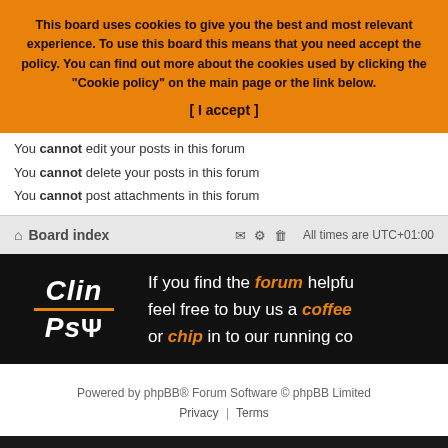This board uses cookies to give you the best and most relevant experience. To use this board this means that you need accept the policy. You can find out more about the cookies used by clicking the "Cookie policy" on the main page or the link below. [ I accept ]
You cannot edit your posts in this forum
You cannot delete your posts in this forum
You cannot post attachments in this forum
Board index   All times are UTC+01:00
[Figure (illustration): ClinPsy forum ad banner on black background with logo and text: If you find the forum helpful, feel free to buy us a coffee or chip in to our running costs]
Powered by phpBB® Forum Software © phpBB Limited
Privacy | Terms
Forum
LiveChat
Wiki
Aspire
Jobs